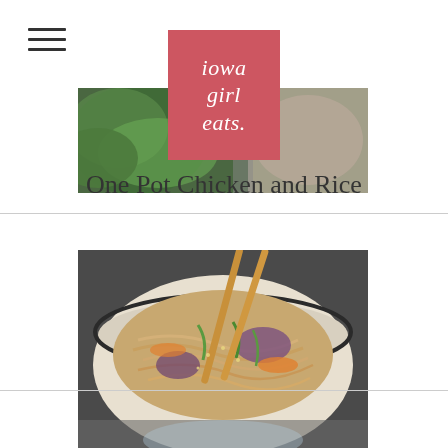[Figure (logo): Iowa Girl Eats logo - coral/salmon colored square with white italic text reading 'iowa girl eats.']
[Figure (photo): Top banner food photo showing green lettuce leaves and what appears to be a bowl of food]
One Pot Chicken and Rice
[Figure (photo): Bowl of noodles with vegetables (cabbage, green onions, carrots) with chopsticks resting in the bowl, served on a dark surface]